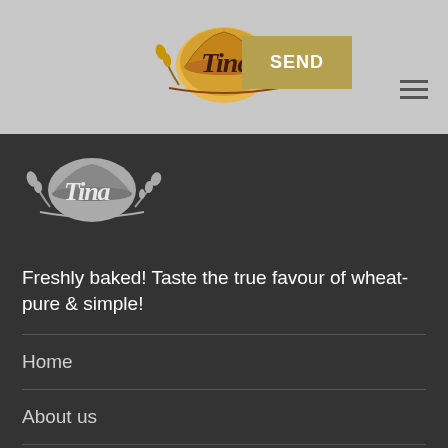[Figure (logo): Tina bread bakery logo with mushroom-shaped bread, cursive Tina text, and wheat stalks in gold, brown, red colors]
[Figure (other): SEND button in gold/tan color]
[Figure (logo): Tina bread bakery logo in white/grey monochrome version]
Freshly baked! Taste the true favour of wheat-pure & simple!
Home
About us
Our Products